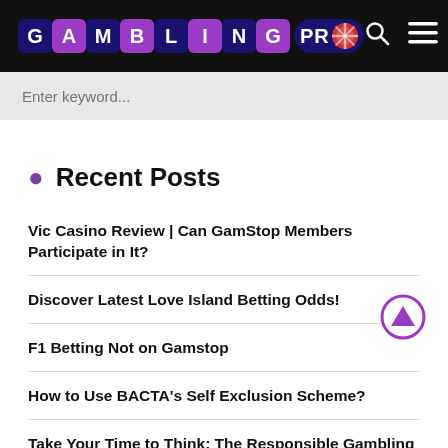GAMBLING PRO
Enter keyword...
Recent Posts
Vic Casino Review | Can GamStop Members Participate in It?
Discover Latest Love Island Betting Odds!
F1 Betting Not on Gamstop
How to Use BACTA's Self Exclusion Scheme?
Take Your Time to Think: The Responsible Gambling Initiative